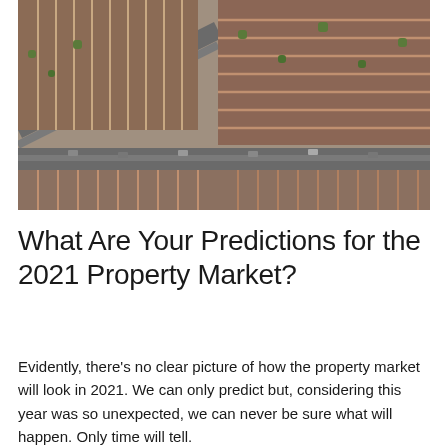[Figure (photo): Aerial photograph looking down at dense urban residential streets with rows of terraced housing, roads, and parked cars, viewed from above at an angle.]
What Are Your Predictions for the 2021 Property Market?
Evidently, there’s no clear picture of how the property market will look in 2021. We can only predict but, considering this year was so unexpected, we can never be sure what will happen. Only time will tell.